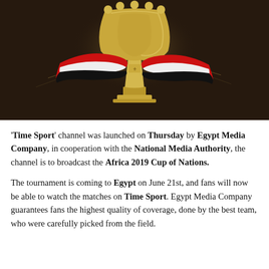[Figure (illustration): A golden trophy with an Egyptian flag ribbon (red, white, black horizontal stripes with golden eagle emblem) wrapped around it, on a dark brown/gold glowing background with decorative streaks.]
'Time Sport' channel was launched on Thursday by Egypt Media Company, in cooperation with the National Media Authority, the channel is to broadcast the Africa 2019 Cup of Nations.
The tournament is coming to Egypt on June 21st, and fans will now be able to watch the matches on Time Sport. Egypt Media Company guarantees fans the highest quality of coverage, done by the best team, who were carefully picked from the field.